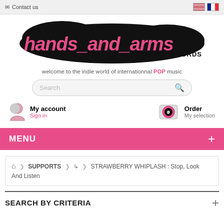Contact us
[Figure (logo): hands_and_arms RECORDS logo - stylized pink text on black blob shape]
welcome to the indie world of internationnal POP music
Search
My account
Sign in
Order
My selection
MENU
SUPPORTS > 7 > STRAWBERRY WHIPLASH : Stop, Look And Listen
SEARCH BY CRITERIA